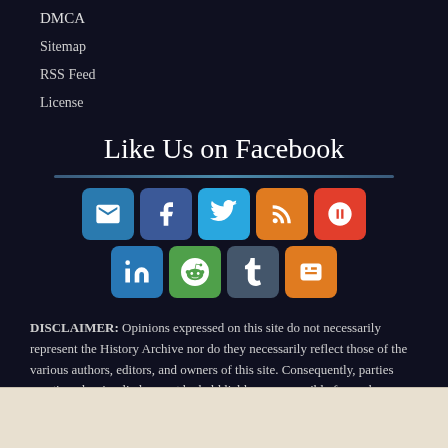DMCA
Sitemap
RSS Feed
License
Like Us on Facebook
[Figure (infographic): Social media sharing icons: email, Facebook, Twitter, RSS, StumbleUpon, LinkedIn, Reddit, Tumblr, Blogger]
DISCLAIMER: Opinions expressed on this site do not necessarily represent the History Archive nor do they necessarily reflect those of the various authors, editors, and owners of this site. Consequently, parties mentioned or implied cannot be held liable or responsible for such opinions. International and domestic copyright laws apply for all non-public domain written content, graphic images and other multimedia. All items used on this website are for